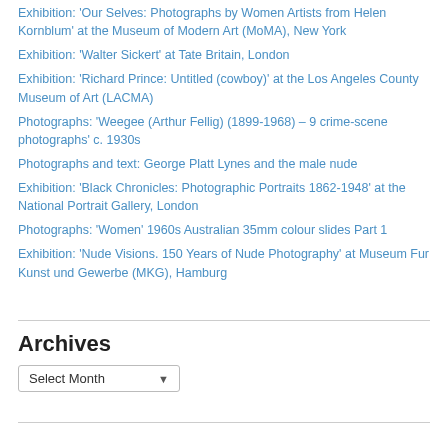Exhibition: 'Our Selves: Photographs by Women Artists from Helen Kornblum' at the Museum of Modern Art (MoMA), New York
Exhibition: 'Walter Sickert' at Tate Britain, London
Exhibition: 'Richard Prince: Untitled (cowboy)' at the Los Angeles County Museum of Art (LACMA)
Photographs: 'Weegee (Arthur Fellig) (1899-1968) – 9 crime-scene photographs' c. 1930s
Photographs and text: George Platt Lynes and the male nude
Exhibition: 'Black Chronicles: Photographic Portraits 1862-1948' at the National Portrait Gallery, London
Photographs: 'Women' 1960s Australian 35mm colour slides Part 1
Exhibition: 'Nude Visions. 150 Years of Nude Photography' at Museum Fur Kunst und Gewerbe (MKG), Hamburg
Archives